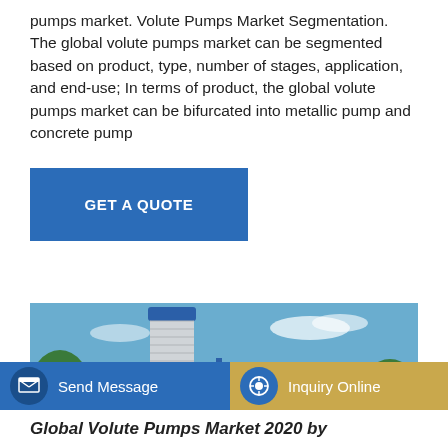pumps market. Volute Pumps Market Segmentation. The global volute pumps market can be segmented based on product, type, number of stages, application, and end-use; In terms of product, the global volute pumps market can be bifurcated into metallic pump and concrete pump
[Figure (other): Blue button/call-to-action reading GET A QUOTE]
[Figure (photo): Industrial concrete pump plant with a tall cylindrical silo, blue steel frame structure, yellow access stairs/walkways, aggregate bins, under a blue sky with trees in background.]
[Figure (other): Bottom navigation bar with Send Message button (blue) and Inquiry Online button (tan/gold)]
Global Volute Pumps Market 2020 by